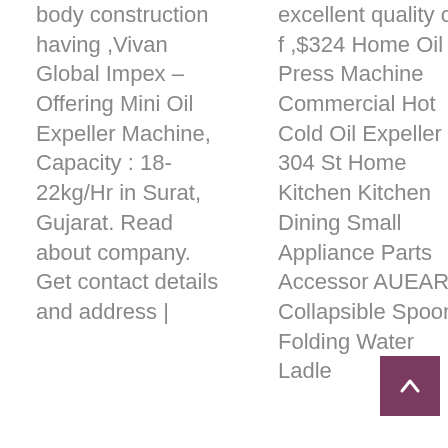body construction having ,Vivan Global Impex – Offering Mini Oil Expeller Machine, Capacity : 18-22kg/Hr in Surat, Gujarat. Read about company. Get contact details and address |
excellent quality oil f ,$324 Home Oil Press Machine Commercial Hot Cold Oil Expeller 304 St Home Kitchen Kitchen Dining Small Appliance Parts Accessor AUEAR, Collapsible Spoon Folding Water Ladle